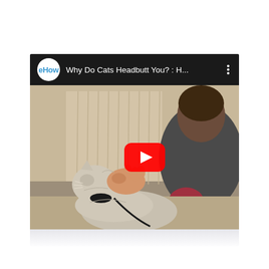[Figure (screenshot): A YouTube video card showing an eHow video titled 'Why Do Cats Headbutt You? : H...' with a thumbnail of a person petting a fluffy cat, and a red YouTube play button overlay in the center of the thumbnail.]